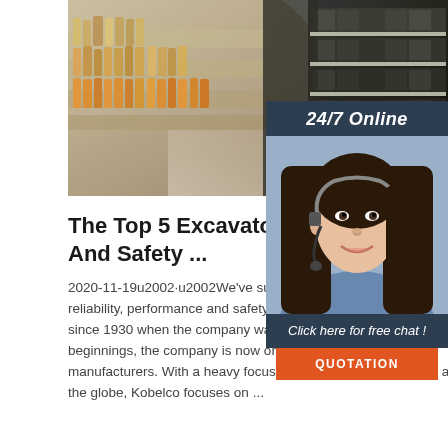[Figure (photo): Interior of a store/supermarket with curved shelving aisles stocked with products, viewed from floor level.]
[Figure (photo): Side panel showing a female customer service agent wearing a headset, with '24/7 Online' header, 'Click here for free chat!' text, and an orange QUOTATION button.]
The Top 5 Excavator Brands Reliability And Safety ...
2020-11-19u2002·u2002We've summarised our excavator brands for reliability, performance and safety. Kobelco. Kobelco has been around since 1930 when the company was first founded in Japan. from small beginnings, the company is now one of the world's leading manufacturers. With a heavy focus on consistency and quality across the globe, Kobelco focuses on ...